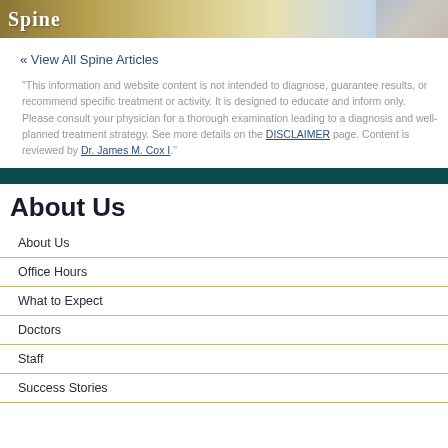[Figure (illustration): Header banner with 'Spine' text in white serif font on gold/tan gradient background, with photo of elderly man on right side]
« View All Spine Articles
"This information and website content is not intended to diagnose, guarantee results, or recommend specific treatment or activity. It is designed to educate and inform only. Please consult your physician for a thorough examination leading to a diagnosis and well-planned treatment strategy. See more details on the DISCLAIMER page. Content is reviewed by Dr. James M. Cox I."
About Us
About Us
Office Hours
What to Expect
Doctors
Staff
Success Stories